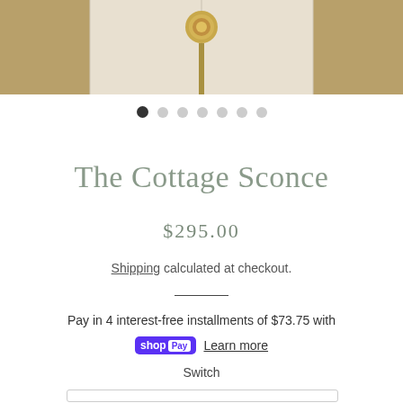[Figure (photo): Top portion of a product photo showing a door or cabinet with a brass/gold knob and white/cream paneling]
The Cottage Sconce
$295.00
Shipping calculated at checkout.
Pay in 4 interest-free installments of $73.75 with shop Pay Learn more Switch